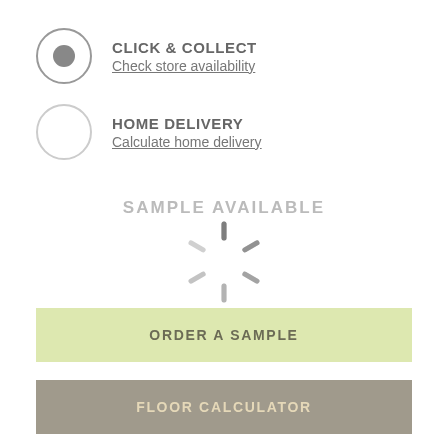CLICK & COLLECT — Check store availability (selected)
HOME DELIVERY — Calculate home delivery
SAMPLE AVAILABLE
[Figure (other): Loading spinner / activity indicator overlay]
ORDER A SAMPLE
FLOOR CALCULATOR
PRODUCT DETAILS